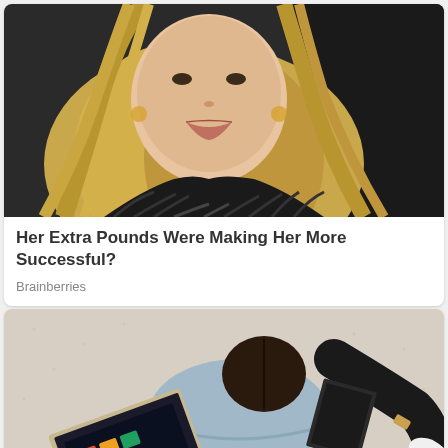[Figure (photo): Close-up photo of a blonde woman with long hair wearing a black fur coat]
Her Extra Pounds Were Making Her More Successful?
Brainberries
[Figure (photo): Overhead view of a woman with dark hair sitting on carpet using a laptop computer, wearing a light blue hoodie and black pants]